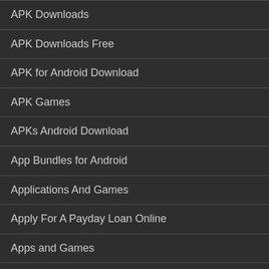APK Downloads
APK Downloads Free
APK for Android Download
APK Games
APKs Android Download
App Bundles for Android
Applications And Games
Apply For A Payday Loan Online
Apps and Games
Apps and Games for Android
Apps Android Reviews